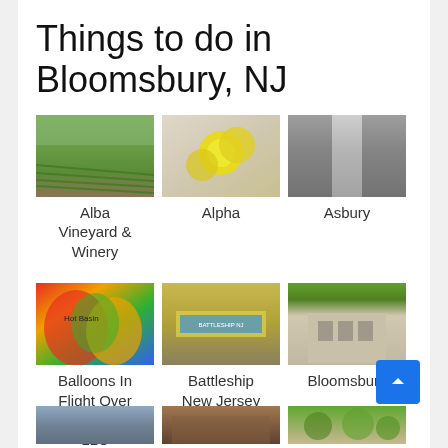Things to do in Bloomsbury, NJ
[Figure (photo): Vineyard rows with green hills in background]
Alba Vineyard & Winery
[Figure (photo): Yellow flowers close-up]
Alpha
[Figure (photo): Black and white photo of tree-lined path]
Asbury
[Figure (photo): Colorful hot air balloons with Hot Basin branding]
Balloons In Flight Over New Jersey, LLC
[Figure (photo): Yellow sign reading about Battleship New Jersey]
Battleship New Jersey
[Figure (photo): Building exterior with trees]
Bloomsbury
[Figure (photo): Partial photo - cloudy sky and trees]
[Figure (photo): Partial photo - brick building]
[Figure (photo): Partial photo - green trees]